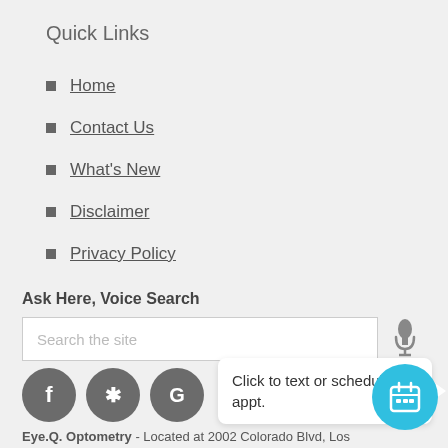Quick Links
Home
Contact Us
What's New
Disclaimer
Privacy Policy
Ask Here, Voice Search
[Figure (screenshot): Search bar with placeholder text 'Search the site' and a microphone icon on the right]
[Figure (infographic): Social media icons (Facebook, Yelp, Google), a tooltip bubble saying 'Click to text or schedule an appt.' with a calendar appointment button in cyan]
Eye.Q. Optometry - Located at 2002 Colorado Blvd, Los